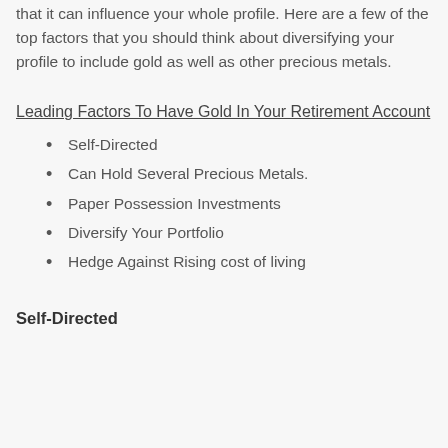that it can influence your whole profile. Here are a few of the top factors that you should think about diversifying your profile to include gold as well as other precious metals.
Leading Factors To Have Gold In Your Retirement Account
Self-Directed
Can Hold Several Precious Metals.
Paper Possession Investments
Diversify Your Portfolio
Hedge Against Rising cost of living
Self-Directed